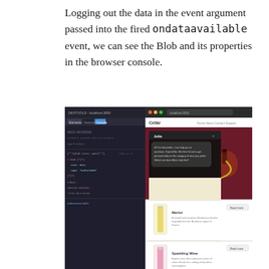Logging out the data in the event argument passed into the fired ondataavailable event, we can see the Blob and its properties in the browser console.
[Figure (screenshot): A screenshot showing a browser developer console on the left with code/log output, and a React app (Cellar wine app) on the right with a chat widget open over a dark red background with wine bottle images and product listings.]
Now that we can start a MediaRecorder stream, we need to be able to stop the MediaRecorder stream when a user is done